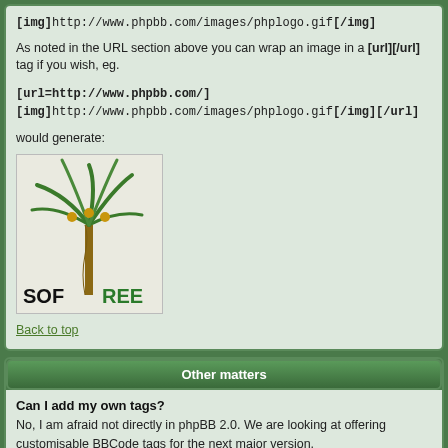[img]http://www.phpbb.com/images/phplogo.gif[/img]
As noted in the URL section above you can wrap an image in a [url][/url] tag if you wish, eg.
[url=http://www.phpbb.com/]
[img]http://www.phpbb.com/images/phplogo.gif[/img][/url]
would generate:
[Figure (illustration): phpBB / Softree logo image placeholder]
Back to top
Other matters
Can I add my own tags?
No, I am afraid not directly in phpBB 2.0. We are looking at offering customisable BBCode tags for the next major version.
Back to top
All times are GMT - 4 Hours
Jump to: Select a forum  Go